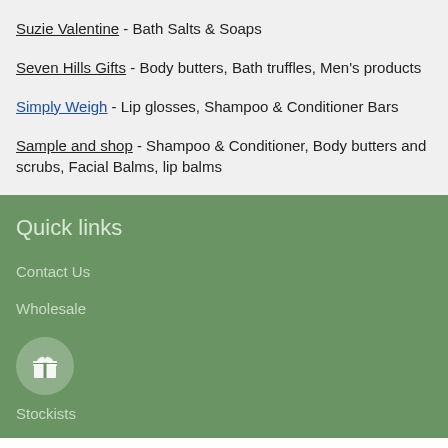Suzie Valentine - Bath Salts & Soaps
Seven Hills Gifts - Body butters, Bath truffles, Men's products
Simply Weigh - Lip glosses, Shampoo & Conditioner Bars
Sample and shop - Shampoo & Conditioner, Body butters and scrubs, Facial Balms, lip balms
Quick links
Contact Us
Wholesale
[Figure (illustration): Gift box icon inside a light green circle]
Stockists